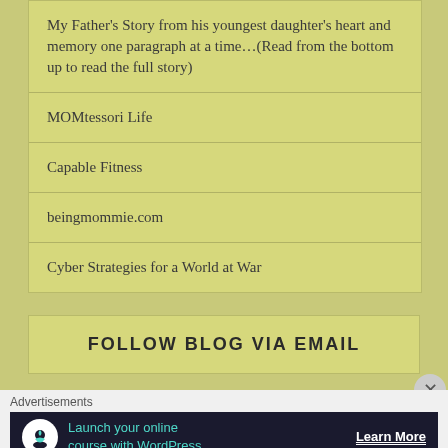My Father's Story from his youngest daughter's heart and memory one paragraph at a time…(Read from the bottom up to read the full story)
MOMtessori Life
Capable Fitness
beingmommie.com
Cyber Strategies for a World at War
FOLLOW BLOG VIA EMAIL
Advertisements
Launch your online course with WordPress   Learn More